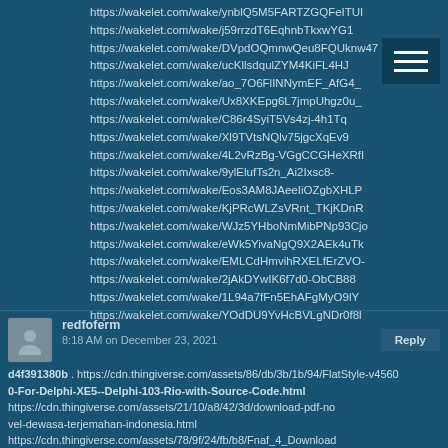https://wakelet.com/wake/ynblQ5M5FARTZGQFeITUI
https://wakelet.com/wake/j59rrzdT6EqhnbTkxwYG1
https://wakelet.com/wake/DVpdOQmnwQeu8FQUknw47
https://wakelet.com/wake/ucKllsdqulZYM4KiFL4HJ
https://wakelet.com/wake/ao_7O6FlINNymEF_AfG4_
https://wakelet.com/wake/Ux8XKEpg6L7jmpUhgz0u_
https://wakelet.com/wake/C86r4SyiT5Vs4zj-4h1Tq
https://wakelet.com/wake/Xl9TVtsNQlv75jgcXqEv9
https://wakelet.com/wake/4L2vRzBg-VGgCCGHeXRfI
https://wakelet.com/wake/9ylElufTs2n_Ai2Ixsc8-
https://wakelet.com/wake/Eos3AM8JAeeIiOZgbXHLP
https://wakelet.com/wake/KjPRcWLZsVRnt_TKjKDnR
https://wakelet.com/wake/WJz5YHboNmMibPNp93Cjo
https://wakelet.com/wake/eWk5YivaNgQ9X2AEk4uTk
https://wakelet.com/wake/EMLCdHmvihRXELfErZVO-
https://wakelet.com/wake/2jAkDYwIK6f7d0-ObCB88
https://wakelet.com/wake/1L94a7fFn5EhAFgMyO9lY
https://wakelet.com/wake/YOdDU9YvHcBVLgNDr0f8l
redfoferm
8:18 AM on December 23, 2021
d4f391380b . https://cdn.thingiverse.com/assets/86/db/3b/1b/94/FlatStyle-v4560
0-For-Delphi-XE5--Delphi-103-Rio-with-Source-Code.html
https://cdn.thingiverse.com/assets/21/10/a8/42/3d/download-pdf-novel-dewasa-terjemahan-indonesia.html
https://cdn.thingiverse.com/assets/78/9f/24/fb/b8/Fnaf_4_Download